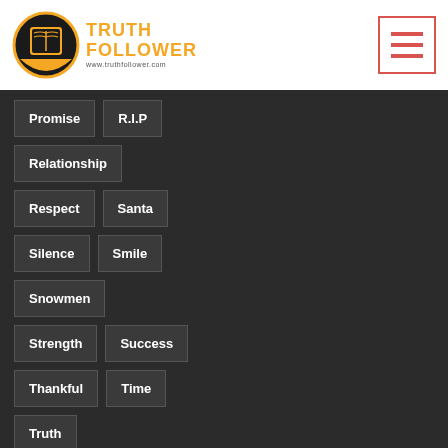[Figure (logo): Truth Follower logo with circular emblem and orange text]
Promise
R.I.P
Relationship
Respect
Santa
Silence
Smile
Snowmen
Strength
Success
Thankful
Time
Truth